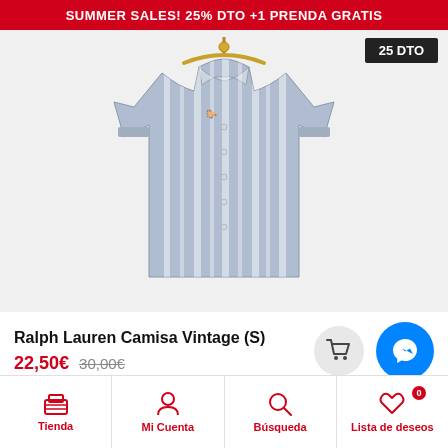SUMMER SALES! 25% DTO +1 PRENDA GRATIS
[Figure (photo): Ralph Lauren striped vintage shirt hanging on a wooden hanger, blue and white vertical stripes, long sleeves, button-down collar, small logo on chest]
Ralph Lauren Camisa Vintage (S)
22,50€  30,00€
Tienda  Mi Cuenta  Búsqueda  Lista de deseos